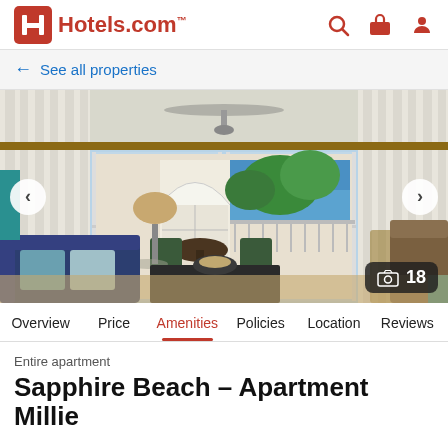[Figure (logo): Hotels.com logo with red H icon and red text]
← See all properties
[Figure (photo): Interior photo of a vacation apartment with navy sofa, sliding glass doors opening to a balcony with ocean view, ceiling fan, white curtains, wicker chairs, and tropical greenery outside. Image count badge showing 18.]
Overview  Price  Amenities  Policies  Location  Reviews
Entire apartment
Sapphire Beach – Apartment Millie